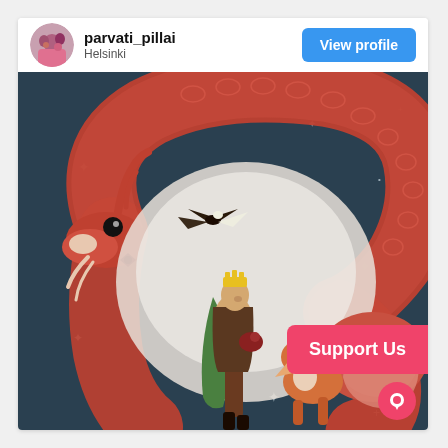parvati_pillai
Helsinki
View profile
[Figure (illustration): Digital illustration of a red dragon curling in a circle around a crowned prince/princess figure holding something, with a fox and an eagle, on a dark teal starry background]
Support Us